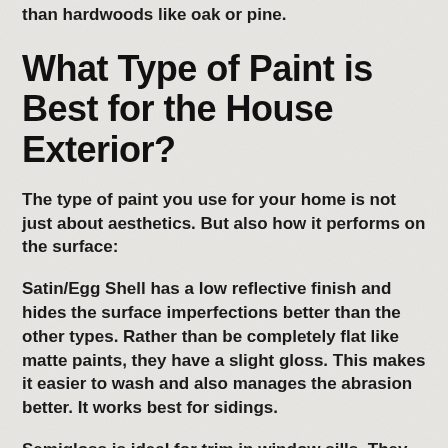than hardwoods like oak or pine.
What Type of Paint is Best for the House Exterior?
The type of paint you use for your home is not just about aesthetics. But also how it performs on the surface:
Satin/Egg Shell has a low reflective finish and hides the surface imperfections better than the other types. Rather than be completely flat like matte paints, they have a slight gloss. This makes it easier to wash and also manages the abrasion better. It works best for sidings.
Semigloss is ideal for trim in window sills. They are